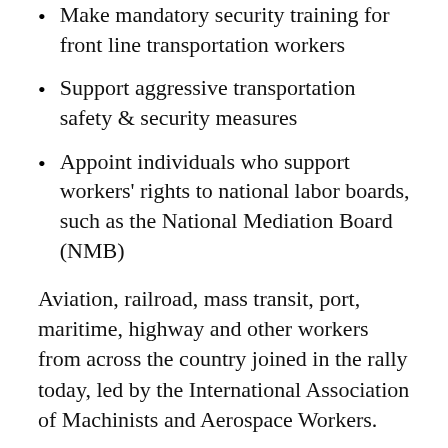Make mandatory security training for front line transportation workers
Support aggressive transportation safety & security measures
Appoint individuals who support workers' rights to national labor boards, such as the National Mediation Board (NMB)
Aviation, railroad, mass transit, port, maritime, highway and other workers from across the country joined in the rally today, led by the International Association of Machinists and Aerospace Workers.
###
TTD represents 32 member unions in the aviation, rail, transit, trucking, highway, longshore, maritime and related industries. For more information, visit...